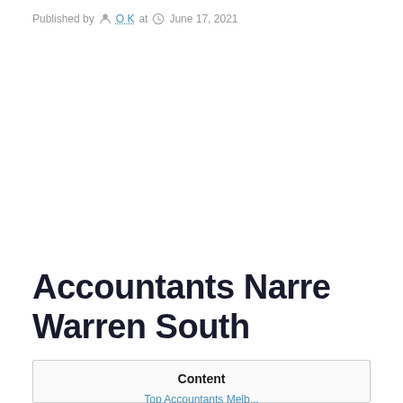Published by O K at June 17, 2021
Accountants Narre Warren South
| Content |
| --- |
| Top Accountants Melb... |